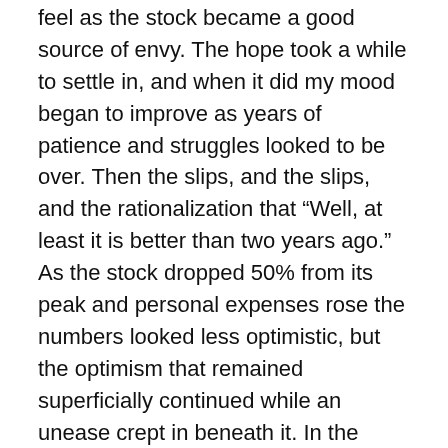feel as the stock became a good source of envy. The hope took a while to settle in, and when it did my mood began to improve as years of patience and struggles looked to be over. Then the slips, and the slips, and the rationalization that “Well, at least it is better than two years ago.” As the stock dropped 50% from its peak and personal expenses rose the numbers looked less optimistic, but the optimism that remained superficially continued while an unease crept in beneath it. In the midst of a complex year, it took a while to recognize the emotional ride of seeing heights then having to accept a retreat to overly-practiced coping mechanisms. It is a good thing I was frugal by choice years before it became a necessity.
The stock charts are easier to draw. The emotional charts are more important. The two are as tied as the words